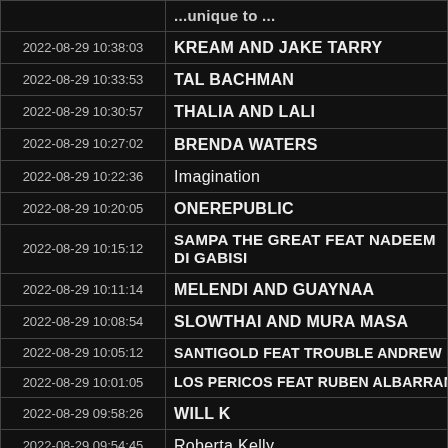| Timestamp | Artist |
| --- | --- |
|  | ...unique to... |
| 2022-08-29 10:38:03 | KREAM AND JAKE TARRY |
| 2022-08-29 10:33:53 | TAL BACHMAN |
| 2022-08-29 10:30:57 | THALIA AND LALI |
| 2022-08-29 10:27:02 | BRENDA WATERS |
| 2022-08-29 10:22:36 | Imagination |
| 2022-08-29 10:20:05 | ONEREPUBLIC |
| 2022-08-29 10:15:12 | SAMPA THE GREAT FEAT NADEEM DI GABISI |
| 2022-08-29 10:11:14 | MELENDI AND GUAYNAA |
| 2022-08-29 10:08:54 | SLOWTHAI AND MURA MASA |
| 2022-08-29 10:05:12 | SANTIGOLD FEAT TROUBLE ANDREW |
| 2022-08-29 10:01:05 | LOS PERICOS FEAT RUBEN ALBARRAN |
| 2022-08-29 09:58:26 | WILL K |
| 2022-08-29 09:54:45 | Roberta Kelly |
| 2022-08-29 09:51:04 | THE ROLLING STONES |
| 2022-08-29 09:48:18 | KIFF NO BEAT |
| 2022-08-29 09:45:35 | CAMILA CABELLO |
| 2022-08-29 09:41:38 | JACK JONES |